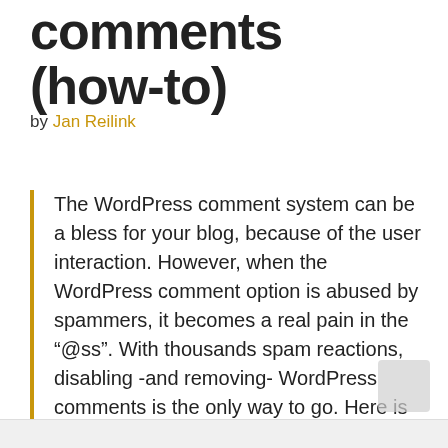comments (how-to)
by Jan Reilink
The WordPress comment system can be a bless for your blog, because of the user interaction. However, when the WordPress comment option is abused by spammers, it becomes a real pain in the "@ss". With thousands spam reactions, disabling -and removing- WordPress comments is the only way to go. Here is how to disable WordPress comments in both the WordPress Dashboard interface and in your MySQL database.